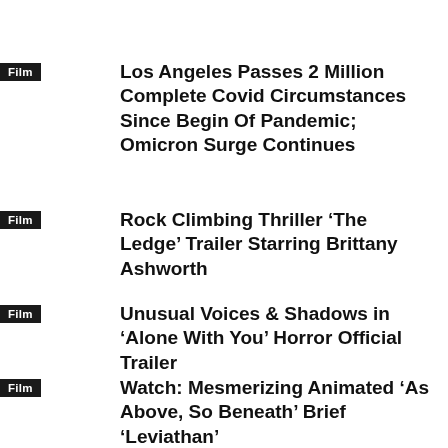Film | Los Angeles Passes 2 Million Complete Covid Circumstances Since Begin Of Pandemic; Omicron Surge Continues
Film | Rock Climbing Thriller ‘The Ledge’ Trailer Starring Brittany Ashworth
Film | Unusual Voices & Shadows in ‘Alone With You’ Horror Official Trailer
Film | Watch: Mesmerizing Animated ‘As Above, So Beneath’ Brief ‘Leviathan’